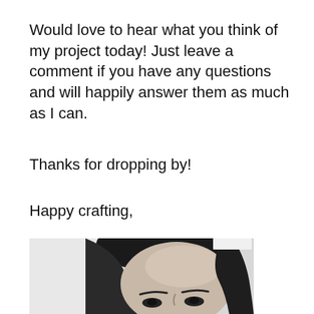Would love to hear what you think of my project today! Just leave a comment if you have any questions and will happily answer them as much as I can.
Thanks for dropping by!
Happy crafting,
[Figure (photo): Black and white close-up photo of a person's face showing the top half — forehead, hair parted to the side, and eyes looking forward.]